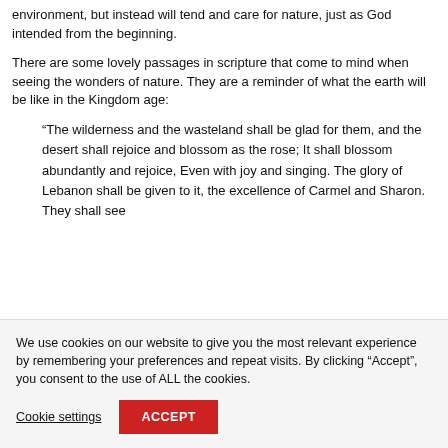environment, but instead will tend and care for nature, just as God intended from the beginning.
There are some lovely passages in scripture that come to mind when seeing the wonders of nature. They are a reminder of what the earth will be like in the Kingdom age:
“The wilderness and the wasteland shall be glad for them, and the desert shall rejoice and blossom as the rose; It shall blossom abundantly and rejoice, Even with joy and singing. The glory of Lebanon shall be given to it, the excellence of Carmel and Sharon. They shall see
We use cookies on our website to give you the most relevant experience by remembering your preferences and repeat visits. By clicking “Accept”, you consent to the use of ALL the cookies.
Cookie settings
ACCEPT